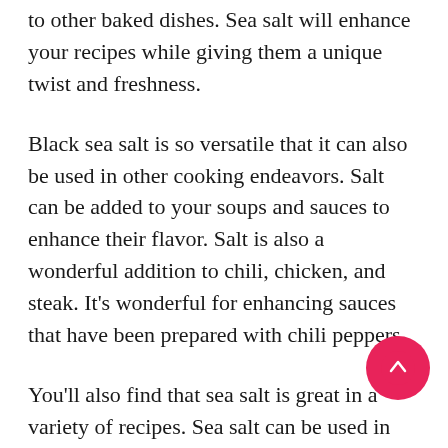to other baked dishes. Sea salt will enhance your recipes while giving them a unique twist and freshness.
Black sea salt is so versatile that it can also be used in other cooking endeavors. Salt can be added to your soups and sauces to enhance their flavor. Salt is also a wonderful addition to chili, chicken, and steak. It's wonderful for enhancing sauces that have been prepared with chili peppers.
You'll also find that sea salt is great in a variety of recipes. Sea salt can be used in dips and spreads, as well as sprinkling on top of desserts. Sea salt can also be used in seafood and other types of dishes to bring out the flavor of the fish, seafood, chicken, or other meat items being cooked.